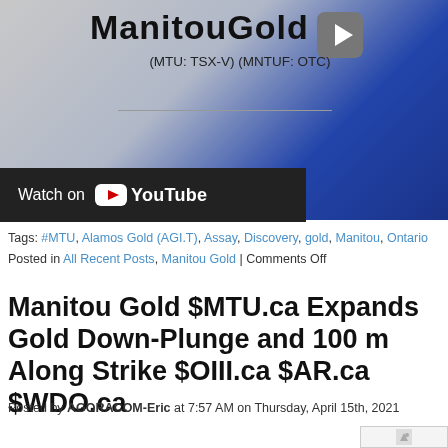[Figure (screenshot): Manitou Gold video thumbnail with logo, ticker symbols (MTU: TSX-V)(MNTUF: OTC), and a Watch on YouTube bar at the bottom]
Tags: #MTU, Alamos Gold (AGI.T), Assay, Discovery, gold, Manitou, Ontario
Posted in All Recent Posts, Manitou Gold | Comments Off
Manitou Gold $MTU.ca Expands Gold Down-Plunge and 100 m Along Strike $OIII.ca $AR.ca $WDO.ca
Posted by AGORACOM-Eric at 7:57 AM on Thursday, April 15th, 2021